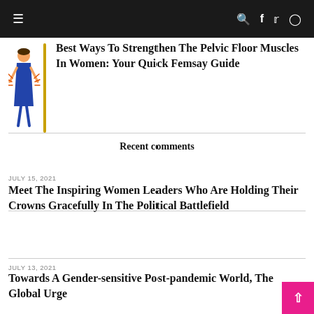≡  🔍  f  twitter  instagram
[Figure (illustration): Woman in blue dress with radiating pain lines illustration, next to a vertical divider bar]
Best Ways To Strengthen The Pelvic Floor Muscles In Women: Your Quick Femsay Guide
Recent comments
JULY 15, 2021
Meet The Inspiring Women Leaders Who Are Holding Their Crowns Gracefully In The Political Battlefield
JULY 13, 2021
Towards A Gender-sensitive Post-pandemic World, The Global Urge